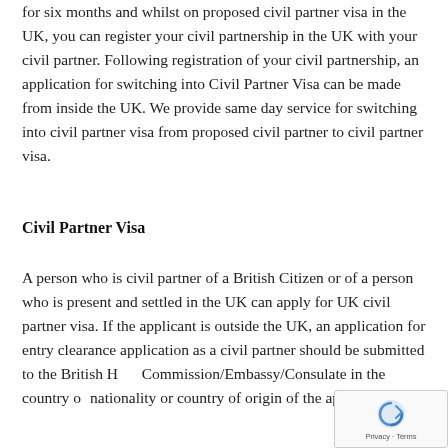for six months and whilst on proposed civil partner visa in the UK, you can register your civil partnership in the UK with your civil partner. Following registration of your civil partnership, an application for switching into Civil Partner Visa can be made from inside the UK. We provide same day service for switching into civil partner visa from proposed civil partner to civil partner visa.
Civil Partner Visa
A person who is civil partner of a British Citizen or of a person who is present and settled in the UK can apply for UK civil partner visa. If the applicant is outside the UK, an application for entry clearance application as a civil partner should be submitted to the British High Commission/Embassy/Consulate in the country of nationality or country of origin of the applicant. If you